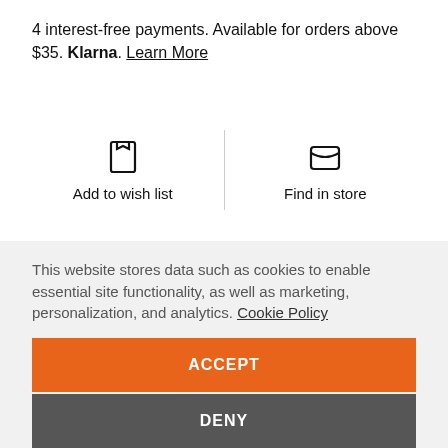4 interest-free payments. Available for orders above $35. Klarna. Learn More
Add to wish list
Find in store
DESCRIPTION
Vintage style, endless comfort. Our Essential V-Neck Ringer Tee is crafted from a cut of cotton
This website stores data such as cookies to enable essential site functionality, as well as marketing, personalization, and analytics. Cookie Policy
ACCEPT
DENY